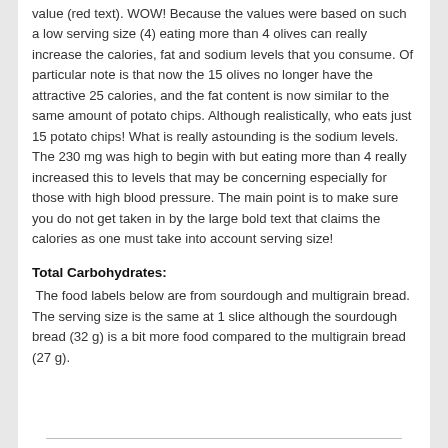value (red text). WOW!  Because the values were based on such a low serving size (4) eating more than 4 olives can really increase the calories, fat and sodium levels that you consume.  Of particular note is that now the 15 olives no longer have the attractive 25 calories, and the fat content is now similar to the same amount of potato chips.  Although realistically, who eats just 15 potato chips!  What is really astounding is the sodium levels. The 230 mg was high to begin with but eating more than 4 really increased this to levels that may be concerning especially for those with high blood pressure.  The main point is to make sure you do not get taken in by the large bold text that claims the calories as one must take into account serving size!
Total Carbohydrates:
The food labels below are from sourdough and multigrain bread.  The serving size is the same at 1 slice although the sourdough bread (32 g) is a bit more food compared to the multigrain bread (27 g).